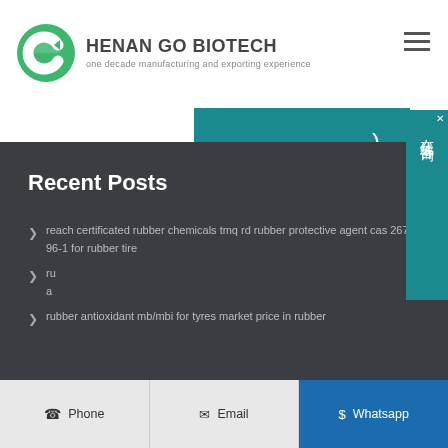HENAN GO BIOTECH — one decade manufacturing and exporting experience
[Figure (screenshot): Partial teal/turquoise banner bar with closing parenthesis character visible]
[Figure (infographic): Online consultation widget in teal with Chinese characters 在线咨询 (online consultation) and X close button]
Recent Posts
reach certificated rubber chemicals tmq rd rubber protective agent cas 26780-96-1 for rubber tire
ru... a... (partially obscured by contact bar)
rubber antioxidant mb/mbi for tyres market price in rubber
Phone | Email | Whatsapp